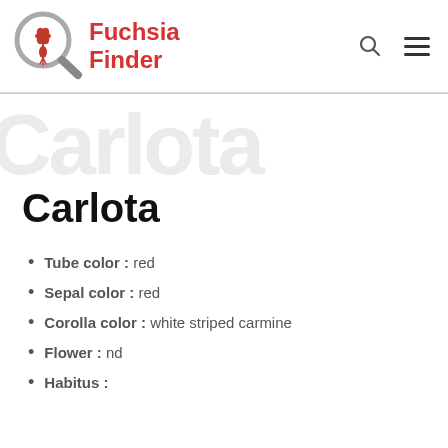Fuchsia Finder
Carlota
Tube color : red
Sepal color : red
Corolla color : white striped carmine
Flower : nd
Habitus :